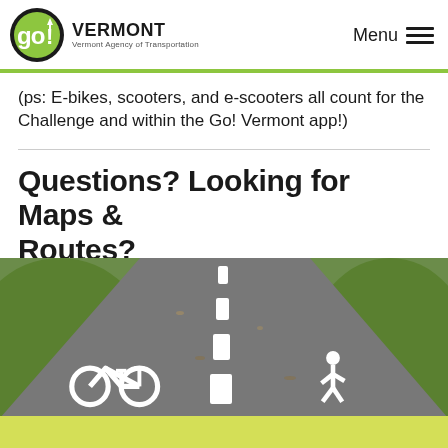Go! Vermont — Vermont Agency of Transportation | Menu
(ps: E-bikes, scooters, and e-scooters all count for the Challenge and within the Go! Vermont app!)
Questions? Looking for Maps & Routes?
Visit Local Motion for all of the answers to your questions—including bike map and route options in Vermont.
[Figure (photo): Paved bike and pedestrian path with white bicycle and pedestrian symbols painted on asphalt, green grass on either side.]